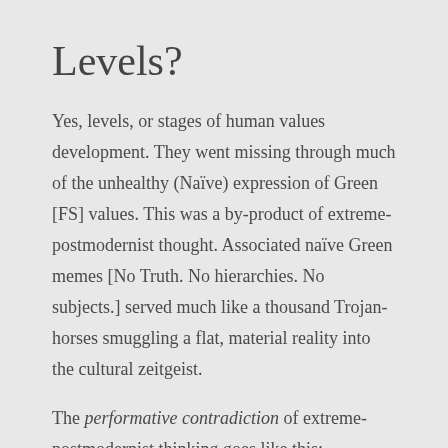Levels?
Yes, levels, or stages of human values development. They went missing through much of the unhealthy (Naïve) expression of Green [FS] values. This was a by-product of extreme-postmodernist thought. Associated naïve Green memes [No Truth. No hierarchies. No subjects.] served much like a thousand Trojan-horses smuggling a flat, material reality into the cultural zeitgeist.
The performative contradiction of extreme-postmodernist thinking goes like this:
Extreme-postmodernist thought asserted that